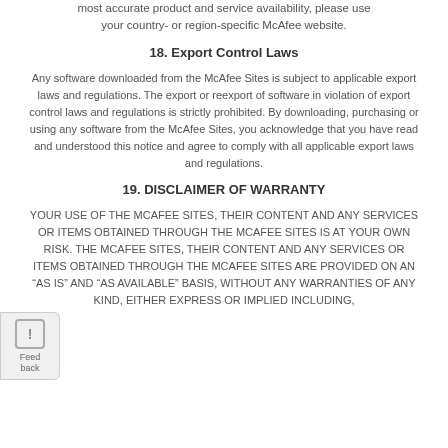most accurate product and service availability, please use your country- or region-specific McAfee website.
18. Export Control Laws
Any software downloaded from the McAfee Sites is subject to applicable export laws and regulations. The export or reexport of software in violation of export control laws and regulations is strictly prohibited. By downloading, purchasing or using any software from the McAfee Sites, you acknowledge that you have read and understood this notice and agree to comply with all applicable export laws and regulations.
19. DISCLAIMER OF WARRANTY
YOUR USE OF THE MCAFEE SITES, THEIR CONTENT AND ANY SERVICES OR ITEMS OBTAINED THROUGH THE MCAFEE SITES IS AT YOUR OWN RISK. THE MCAFEE SITES, THEIR CONTENT AND ANY SERVICES OR ITEMS OBTAINED THROUGH THE MCAFEE SITES ARE PROVIDED ON AN “AS IS” AND “AS AVAILABLE” BASIS, WITHOUT ANY WARRANTIES OF ANY KIND, EITHER EXPRESS OR IMPLIED INCLUDING,